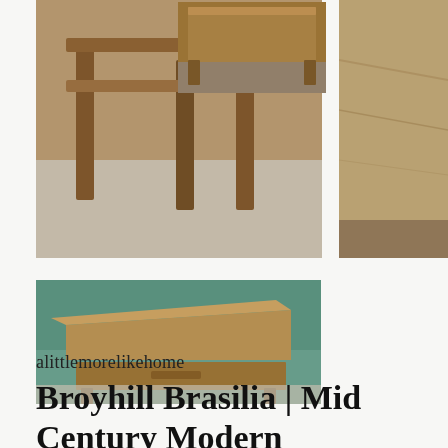[Figure (photo): Photograph of a wooden nightstand viewed from below/side angle, showing legs and shelf, on carpeted floor]
[Figure (photo): Photograph of a wooden desk or table viewed from above/front, showing the top surface and legs]
[Figure (photo): Close-up photograph of a wood surface showing grain and texture detail]
[Figure (photo): Photograph of a wooden nightstand with teal/green wall background, showing top surface and drawer]
alittlemorelikehome
Broyhill Brasilia | Mid Century Modern Nightstand